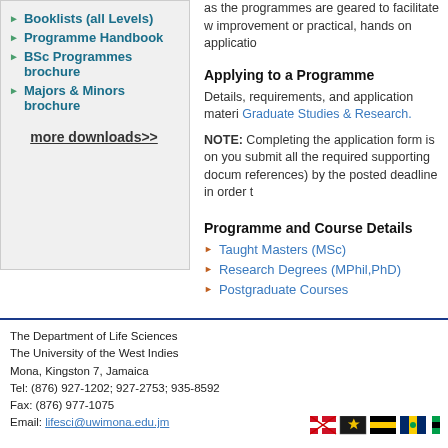Booklists (all Levels)
Programme Handbook
BSc Programmes brochure
Majors & Minors brochure
more downloads>>
as the programmes are geared to facilitate w improvement or practical, hands on applicatio
Applying to a Programme
Details, requirements, and application materi Graduate Studies & Research.
NOTE: Completing the application form is on you submit all the required supporting docum references) by the posted deadline in order t
Programme and Course Details
Taught Masters (MSc)
Research Degrees (MPhil,PhD)
Postgraduate Courses
The Department of Life Sciences
The University of the West Indies
Mona, Kingston 7, Jamaica
Tel: (876) 927-1202; 927-2753; 935-8592
Fax: (876) 977-1075
Email: lifesci@uwimona.edu.jm